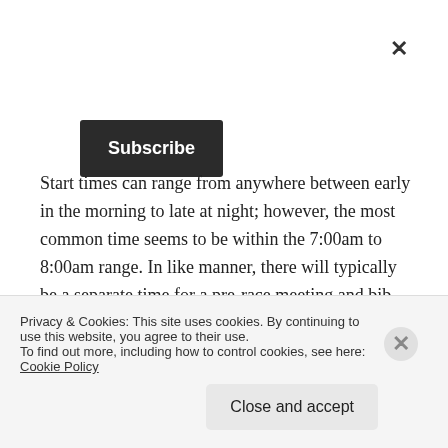[Figure (other): Close (X) button in top right corner]
[Figure (other): Subscribe button, dark background, white text]
Start times can range from anywhere between early in the morning to late at night; however, the most common time seems to be within the 7:00am to 8:00am range. In like manner, there will typically be a separate time for a pre-race meeting and bib pickup. Ultra marathons with multiple distances will have multiple start times. If your start time is before sunrise, you will want to bring along a headlamp.
Privacy & Cookies: This site uses cookies. By continuing to use this website, you agree to their use.
To find out more, including how to control cookies, see here: Cookie Policy
[Figure (other): Close and accept button]
[Figure (other): Cookie banner close icon (X circle)]